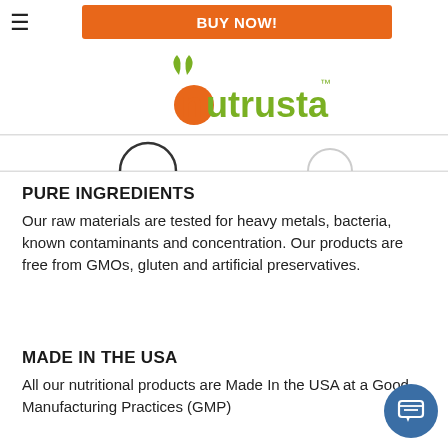BUY NOW!
[Figure (logo): Nutrusta brand logo with green leaves and orange/green stylized text]
[Figure (other): Partial circular badge icons row]
PURE INGREDIENTS
Our raw materials are tested for heavy metals, bacteria, known contaminants and concentration. Our products are free from GMOs, gluten and artificial preservatives.
MADE IN THE USA
All our nutritional products are Made In the USA at a Good Manufacturing Practices (GMP)